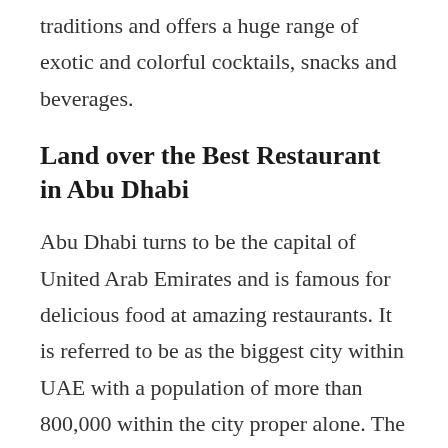traditions and offers a huge range of exotic and colorful cocktails, snacks and beverages.
Land over the Best Restaurant in Abu Dhabi
Abu Dhabi turns to be the capital of United Arab Emirates and is famous for delicious food at amazing restaurants. It is referred to be as the biggest city within UAE with a population of more than 800,000 within the city proper alone. The progressive metropolis attracts hundreds if not thousands of tourists every year without a break. Abu Dhabi gets filled with modern high-rise buildings that make a impressive skyline indeed. Aside from the architectural wonders of the city, it